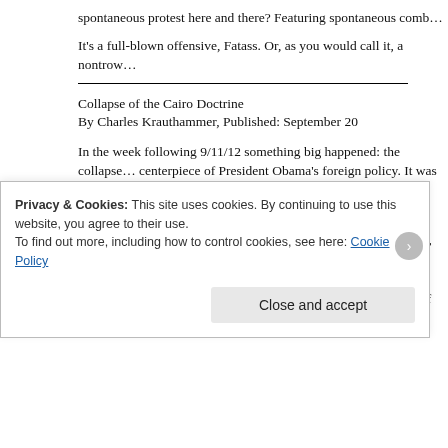spontaneous protest here and there? Featuring spontaneous comb...
It's a full-blown offensive, Fatass. Or, as you would call it, a nontrow...
Collapse of the Cairo Doctrine
By Charles Krauthammer, Published: September 20
In the week following 9/11/12 something big happened: the collapse... centerpiece of President Obama's foreign policy. It was to reset the... America, creating, after the (allegedly) brutal depredations of the Bu... rapprochement with the Islamic world.
Never lacking ambition or self-regard, Obama promised in Cairo, Ju... offering Muslims “mutual respect,” unsubtly implying previous disres... previous 20 years, America had six times committed its military forc... Muslims, three times for reasons of pure humanitarianism (Somalia...
Privacy & Cookies: This site uses cookies. By continuing to use this website, you agree to their use.
To find out more, including how to control cookies, see here: Cookie Policy